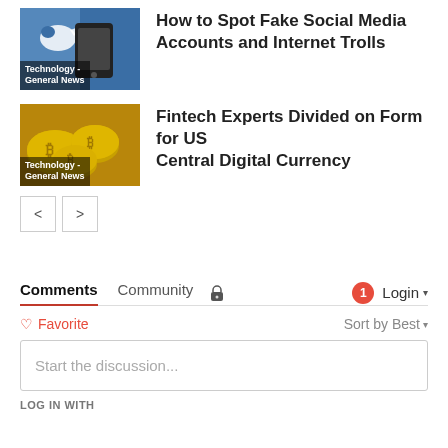[Figure (photo): Thumbnail image of a hand holding a smartphone with a Twitter-like bird logo on a blue background]
Technology - General News
How to Spot Fake Social Media Accounts and Internet Trolls
[Figure (photo): Thumbnail image of gold Bitcoin coins]
Technology - General News
Fintech Experts Divided on Form for US Central Digital Currency
< >
Comments
Community
Login
Favorite
Sort by Best
Start the discussion...
LOG IN WITH